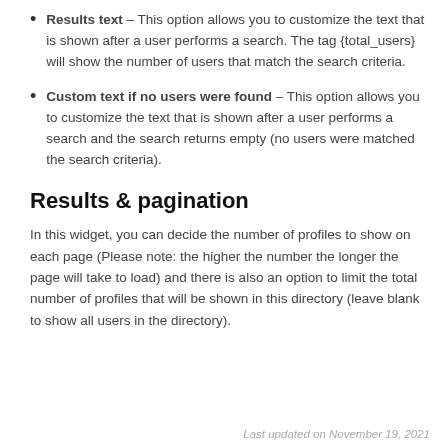Results text – This option allows you to customize the text that is shown after a user performs a search. The tag {total_users} will show the number of users that match the search criteria.
Custom text if no users were found – This option allows you to customize the text that is shown after a user performs a search and the search returns empty (no users were matched the search criteria).
Results & pagination
In this widget, you can decide the number of profiles to show on each page (Please note: the higher the number the longer the page will take to load) and there is also an option to limit the total number of profiles that will be shown in this directory (leave blank to show all users in the directory).
Last updated on November 19, 2021